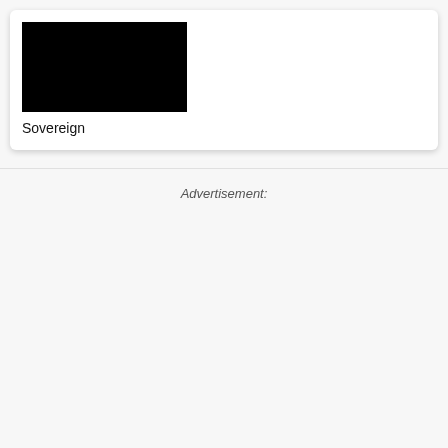[Figure (photo): Black rectangular image placeholder]
Sovereign
Advertisement: